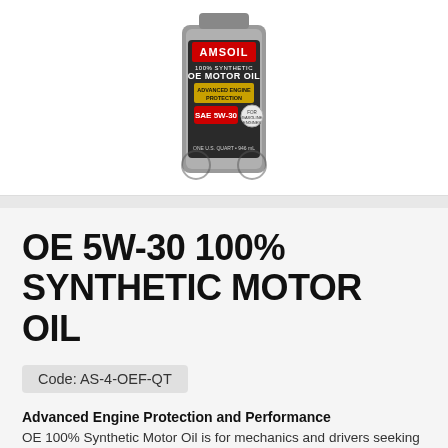[Figure (photo): AMSOIL OE Motor Oil bottle, 100% Synthetic, SAE 5W-30, Advanced Engine Protection, 1 US Quart / 946 mL]
OE 5W-30 100% SYNTHETIC MOTOR OIL
Code: AS-4-OEF-QT
Advanced Engine Protection and Performance
OE 100% Synthetic Motor Oil is for mechanics and drivers seeking peace of mind protection and exceptional value in